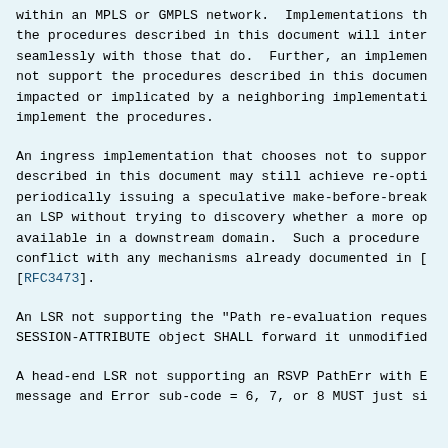within an MPLS or GMPLS network.  Implementations th the procedures described in this document will inter seamlessly with those that do.  Further, an implemen not support the procedures described in this documen impacted or implicated by a neighboring implementati implement the procedures.
An ingress implementation that chooses not to suppor described in this document may still achieve re-opti periodically issuing a speculative make-before-break an LSP without trying to discovery whether a more op available in a downstream domain.  Such a procedure conflict with any mechanisms already documented in [ [RFC3473].
An LSR not supporting the "Path re-evaluation reques SESSION-ATTRIBUTE object SHALL forward it unmodified
A head-end LSR not supporting an RSVP PathErr with E message and Error sub-code = 6, 7, or 8 MUST just si